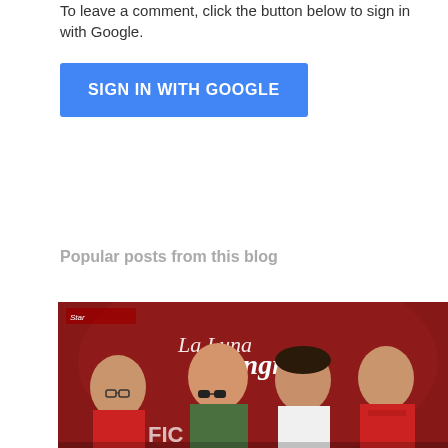To leave a comment, click the button below to sign in with Google.
[Figure (screenshot): Blue 'SIGN IN WITH GOOGLE' button]
Popular posts from this blog
[Figure (photo): Group photo of four people in front of a 'La Luna Sangre' promotional banner. From left: an older woman with glasses wearing a red shirt, a young man with sunglasses wearing a green jacket, a young woman in a white shirt, and a young man wearing a red vest.]